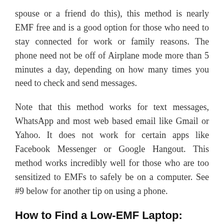spouse or a friend do this), this method is nearly EMF free and is a good option for those who need to stay connected for work or family reasons. The phone need not be off of Airplane mode more than 5 minutes a day, depending on how many times you need to check and send messages.
Note that this method works for text messages, WhatsApp and most web based email like Gmail or Yahoo. It does not work for certain apps like Facebook Messenger or Google Hangout. This method works incredibly well for those who are too sensitized to EMFs to safely be on a computer. See #9 below for another tip on using a phone.
How to Find a Low-EMF Laptop:
5.) Not all computers are created equal. The severity of your symptoms may depend upon which computer you are using. I find that older systems with less processing power are easier to